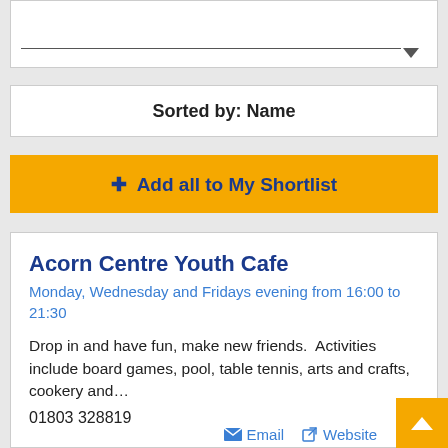[Figure (other): Search/filter bar with a horizontal line and arrow indicator]
Sorted by: Name
+ Add all to My Shortlist
Acorn Centre Youth Cafe
Monday, Wednesday and Fridays evening from 16:00 to 21:30
Drop in and have fun, make new friends. Activities include board games, pool, table tennis, arts and crafts, cookery and…
01803 328819
Email  Website